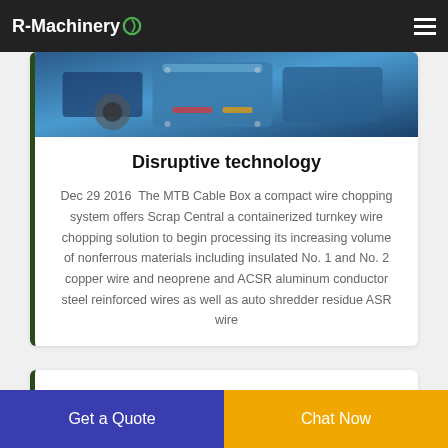R-Machinery
[Figure (photo): Industrial machinery — cable box wire chopping system, blue machinery with mechanical components]
Disruptive technology
Dec 29 2016  The MTB Cable Box a compact wire chopping system offers Scrap Central a containerized turnkey wire chopping solution to begin processing its increasing volume of nonferrous materials including insulated No. 1 and No. 2 copper wire and neoprene and ACSR aluminum conductor steel reinforced wires as well as auto shredder residue ASR wire
Get a Quote
Chat Now